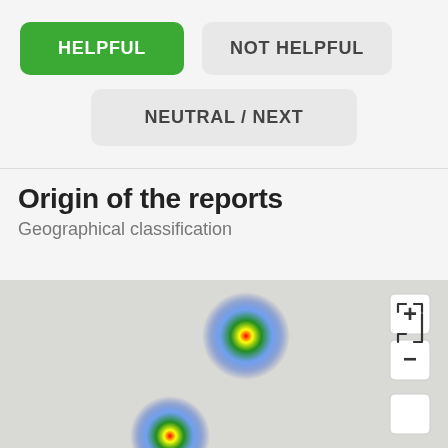[Figure (infographic): UI screenshot showing HELPFUL (green button), NOT HELPFUL (grey button), and NEUTRAL / NEXT (grey button) feedback options]
Origin of the reports
Geographical classification
[Figure (map): Interactive geographical heat map showing origin of reports with two heat spots visible (blue/green/yellow/red radial gradients), plus/minus zoom controls and fullscreen control on the right side]